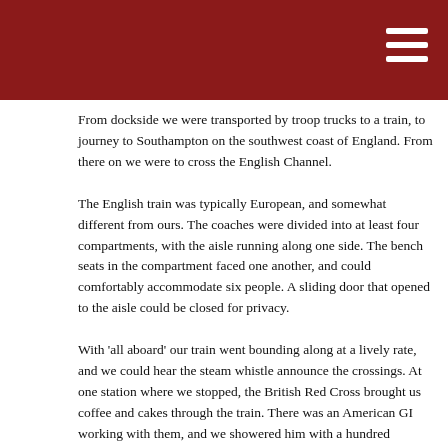From dockside we were transported by troop trucks to a train, to journey to Southampton on the southwest coast of England. From there on we were to cross the English Channel. The English train was typically European, and somewhat different from ours. The coaches were divided into at least four compartments, with the aisle running along one side. The bench seats in the compartment faced one another, and could comfortably accommodate six people. A sliding door that opened to the aisle could be closed for privacy. With 'all aboard' our train went bounding along at a lively rate, and we could hear the steam whistle announce the crossings. At one station where we stopped, the British Red Cross brought us coffee and cakes through the train. There was an American GI working with them, and we showered him with a hundred questions as he went from one compartment to another. As we continued on our journey we had the pleasure of brief meetings with English children. Their faces beamed